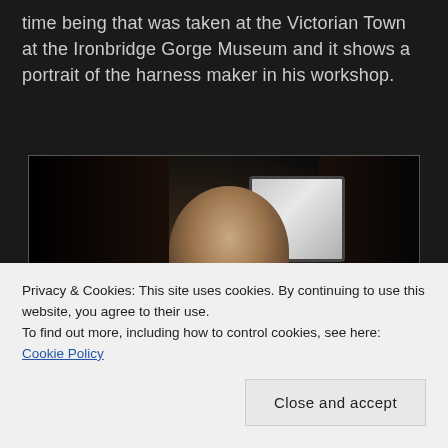time being that was taken at the Victorian Town at the Ironbridge Gorge Museum and it shows a portrait of the harness maker in his workshop.
[Figure (photo): A dark photograph of an elderly man with glasses, leaning forward slightly and smiling, lit from behind by a bright window. He is wearing a waistcoat. The background is very dark with a window visible behind him.]
Privacy & Cookies: This site uses cookies. By continuing to use this website, you agree to their use.
To find out more, including how to control cookies, see here: Cookie Policy
Close and accept